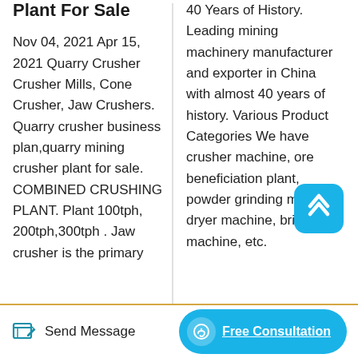Quarry Crusher Plant For Sale
Nov 04, 2021 Apr 15, 2021 Quarry Crusher Crusher Mills, Cone Crusher, Jaw Crushers. Quarry crusher business plan,quarry mining crusher plant for sale. COMBINED CRUSHING PLANT. Plant 100tph, 200tph,300tph . Jaw crusher is the primary
40 Years of History. Leading mining machinery manufacturer and exporter in China with almost 40 years of history. Various Product Categories We have crusher machine, ore beneficiation plant, powder grinding mill, dryer machine, briquette machine, etc.
[Figure (other): Teal rounded square scroll-to-top button with upward chevron arrow icon]
Send Message   Free Consultation